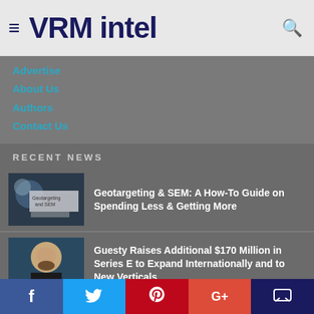VRM intel
Advertise
About Us
Authors
Contact Us
RECENT NEWS
[Figure (photo): Geotargeting and SEM article thumbnail]
Geotargeting & SEM: A How-To Guide on Spending Less & Getting More
[Figure (photo): Man with beard headshot for Guesty article]
Guesty Raises Additional $170 Million in Series E to Expand Internationally and to New Verticals
[Figure (photo): PriceLabs data-driven pricing for vacation rentals thumbnail]
PriceLabs Announces $30 Million Investment from Summit Partners
f  Twitter  Pinterest  G+  Chat